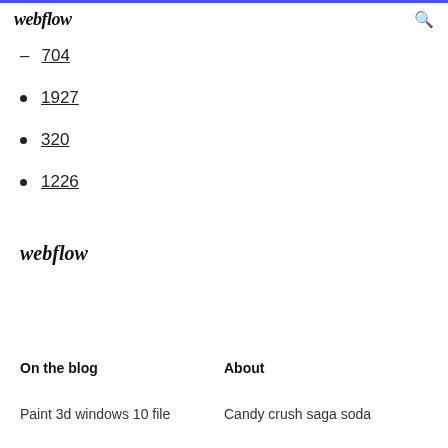webflow
704
1927
320
1226
webflow
On the blog    About
Paint 3d windows 10 file   Candy crush saga soda